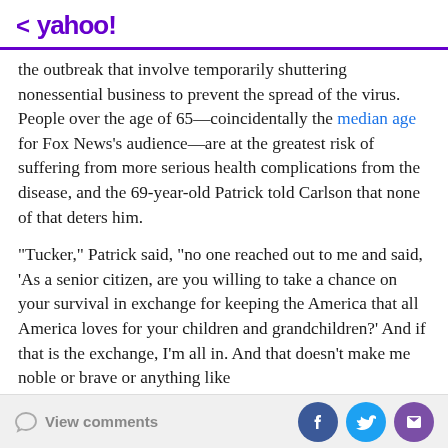< yahoo!
the outbreak that involve temporarily shuttering nonessential business to prevent the spread of the virus. People over the age of 65—coincidentally the median age for Fox News's audience—are at the greatest risk of suffering from more serious health complications from the disease, and the 69-year-old Patrick told Carlson that none of that deters him.
"Tucker," Patrick said, "no one reached out to me and said, 'As a senior citizen, are you willing to take a chance on your survival in exchange for keeping the America that all America loves for your children and grandchildren?' And if that is the exchange, I'm all in. And that doesn't make me noble or brave or anything like
View comments